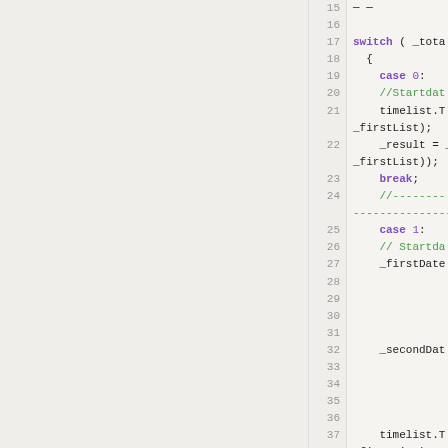[Figure (screenshot): Code editor screenshot showing lines 15-38 of source code with a switch statement containing case 0 and case 1 blocks, with syntax highlighting. Left portion shows a blank/whitespace panel, right portion shows line numbers and code.]